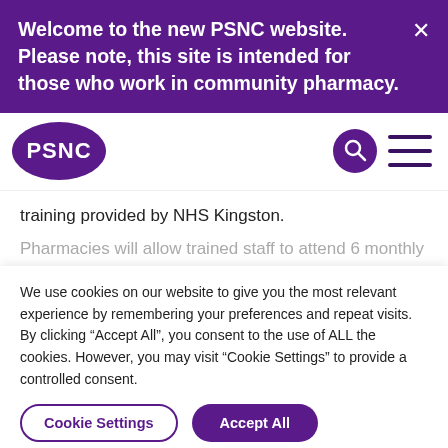Welcome to the new PSNC website. Please note, this site is intended for those who work in community pharmacy.
[Figure (logo): PSNC logo — oval purple shape with white text PSNC]
training provided by NHS Kingston.
Pharmacies will allow trained staff to attend 6 monthly
We use cookies on our website to give you the most relevant experience by remembering your preferences and repeat visits. By clicking “Accept All”, you consent to the use of ALL the cookies. However, you may visit "Cookie Settings" to provide a controlled consent.